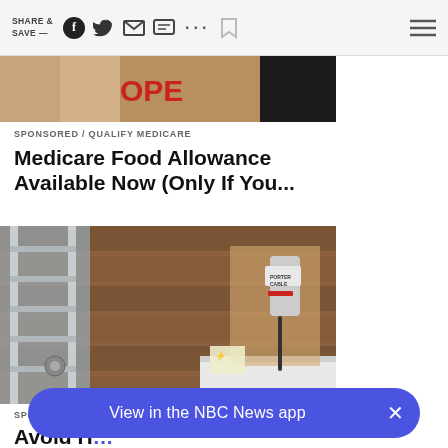SHARE & SAVE —
[Figure (photo): Partial cropped photo showing a person, with red discount/sale text visible]
SPONSORED / QUALIFY MEDICARE
Medicare Food Allowance Available Now (Only If You...
[Figure (photo): A person using a Porter Cable drill on a rooftop/gutter area, with metal ladder and shingle roofing visible]
SPONSORED / LEAFFILTER
Avoid H... Costs Wi... Leaf Filt...
View in the NBC News app